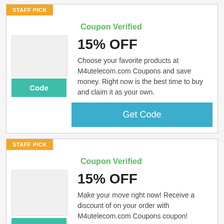[Figure (screenshot): Coupon card 1 with STAFF PICK badge, Coupon Verified label, 15% OFF discount, description text, Code button, and Get Code button]
[Figure (screenshot): Coupon card 2 with STAFF PICK badge, Coupon Verified label, 15% OFF discount, description text, and Code button]